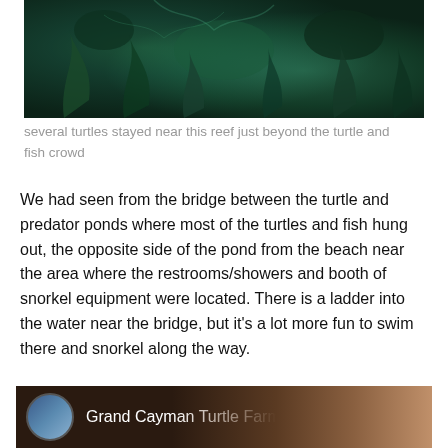[Figure (photo): Underwater photo of a coral reef with dark green and teal coloring, showing seaweed and coral formations]
several turtles stayed near this reef just beyond the turtle and fish crowd
We had seen from the bridge between the turtle and predator ponds where most of the turtles and fish hung out, the opposite side of the pond from the beach near the area where the restrooms/showers and booth of snorkel equipment were located. There is a ladder into the water near the bridge, but it's a lot more fun to swim there and snorkel along the way.
[Figure (screenshot): Bottom portion showing a thumbnail image with a circular profile photo and the text 'Grand Cayman Turtle Farm']